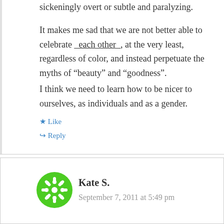sickeningly overt or subtle and paralyzing.

It makes me sad that we are not better able to celebrate _each other_, at the very least, regardless of color, and instead perpetuate the myths of “beauty” and “goodness”.
I think we need to learn how to be nicer to ourselves, as individuals and as a gender.
★ Like
↳ Reply
Kate S.
September 7, 2011 at 5:49 pm